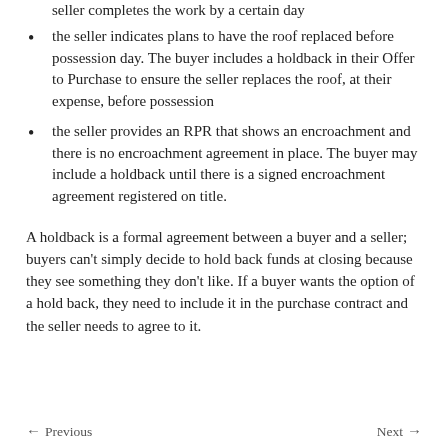seller completes the work by a certain day
the seller indicates plans to have the roof replaced before possession day. The buyer includes a holdback in their Offer to Purchase to ensure the seller replaces the roof, at their expense, before possession
the seller provides an RPR that shows an encroachment and there is no encroachment agreement in place. The buyer may include a holdback until there is a signed encroachment agreement registered on title.
A holdback is a formal agreement between a buyer and a seller; buyers can't simply decide to hold back funds at closing because they see something they don't like. If a buyer wants the option of a hold back, they need to include it in the purchase contract and the seller needs to agree to it.
← Previous    Next →